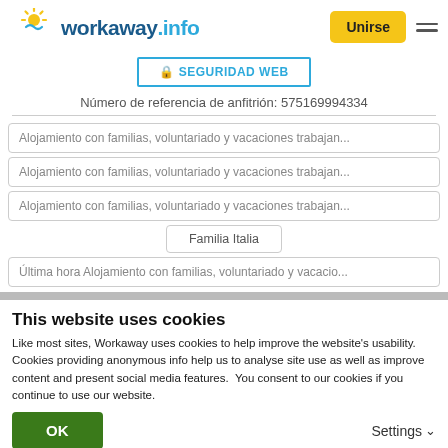workaway.info — Unirse
SEGURIDAD WEB
Número de referencia de anfitrión: 575169994334
Alojamiento con familias, voluntariado y vacaciones trabajan...
Alojamiento con familias, voluntariado y vacaciones trabajan...
Alojamiento con familias, voluntariado y vacaciones trabajan...
Familia Italia
Última hora Alojamiento con familias, voluntariado y vacacio...
This website uses cookies
Like most sites, Workaway uses cookies to help improve the website's usability. Cookies providing anonymous info help us to analyse site use as well as improve content and present social media features.  You consent to our cookies if you continue to use our website.
OK
Settings